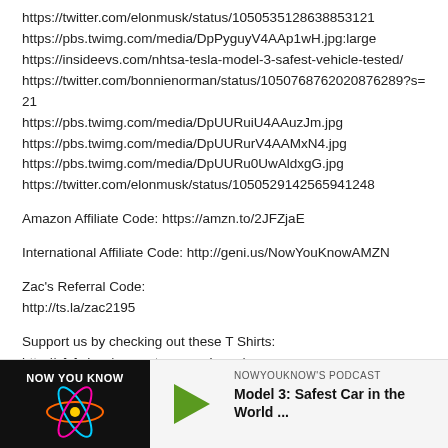https://twitter.com/elonmusk/status/1050535128638853121
https://pbs.twimg.com/media/DpPyguyV4AAp1wH.jpg:large
https://insideevs.com/nhtsa-tesla-model-3-safest-vehicle-tested/
https://twitter.com/bonnienorman/status/1050768762020876289?s=21
https://pbs.twimg.com/media/DpUURuiU4AAuzJm.jpg
https://pbs.twimg.com/media/DpUURurV4AAMxN4.jpg
https://pbs.twimg.com/media/DpUURu0UwAldxgG.jpg
https://twitter.com/elonmusk/status/1050529142565941248
Amazon Affiliate Code: https://amzn.to/2JFZjaE
International Affiliate Code: http://geni.us/NowYouKnowAMZN
Zac's Referral Code:
http://ts.la/zac2195
Support us by checking out these T Shirts:
http://sfsf.shop/support-nowyouknow/
Now You Know's Website:
http://www.nowyouknowchannel.com
http://www.patreon.com/nowyouknow
[Figure (screenshot): Bottom section showing a podcast player UI with 'Now You Know' logo thumbnail on dark background, a green play triangle button, and text 'NOWYOUKNOW'S PODCAST' with title 'Model 3: Safest Car in the World ...']